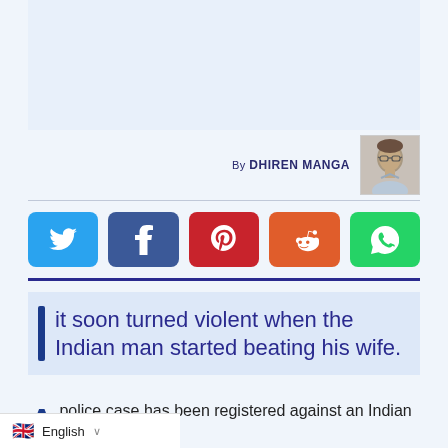[Figure (photo): Advertisement/banner area at the top of the article page (light blue background, empty)]
By DHIREN MANGA
[Figure (photo): Author headshot photo of Dhiren Manga, a man with glasses]
[Figure (infographic): Social sharing buttons row: Twitter (blue), Facebook (dark blue), Pinterest (red), Reddit (orange), WhatsApp (green)]
it soon turned violent when the Indian man started beating his wife.
A police case has been registered against an Indian